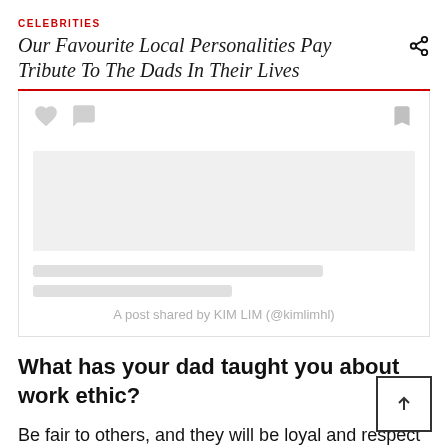CELEBRITIES
Our Favourite Local Personalities Pay Tribute To The Dads In Their Lives
[Figure (screenshot): Instagram embed placeholder showing heart and comment icons, bookmark icon, skeleton loading bars, and caption text: A post shared by KIM LIM (@kimlimhl)]
What has your dad taught you about work ethic?
Be fair to others, and they will be loyal and respect you.